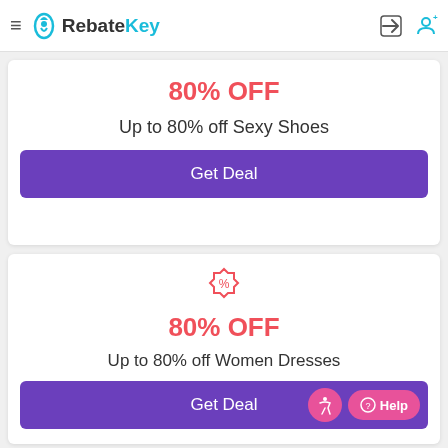RebateKey
80% OFF
Up to 80% off Sexy Shoes
Get Deal
[Figure (illustration): Percent badge/tag icon in salmon/pink color]
80% OFF
Up to 80% off Women Dresses
Get Deal